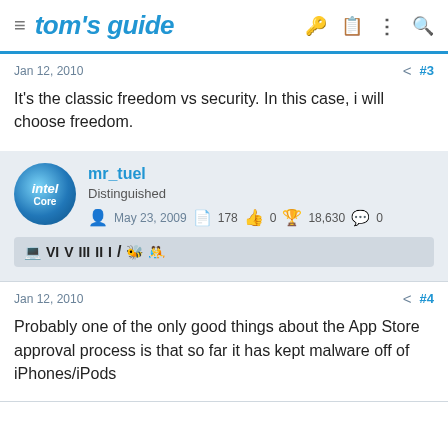tom's guide
Jan 12, 2010  #3
It's the classic freedom vs security. In this case, i will choose freedom.
mr_tuel
Distinguished
May 23, 2009  178  0  18,630  0
Jan 12, 2010  #4
Probably one of the only good things about the App Store approval process is that so far it has kept malware off of iPhones/iPods